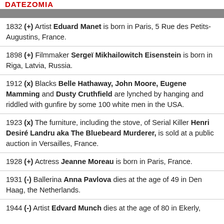DATEZOMIA
1832 (+) Artist Eduard Manet is born in Paris, 5 Rue des Petits-Augustins, France.
1898 (+) Filmmaker Sergeï Mikhailowitch Eisenstein is born in Riga, Latvia, Russia.
1912 (x) Blacks Belle Hathaway, John Moore, Eugene Mamming and Dusty Cruthfield are lynched by hanging and riddled with gunfire by some 100 white men in the USA.
1923 (x) The furniture, including the stove, of Serial Killer Henri Desiré Landru aka The Bluebeard Murderer, is sold at a public auction in Versailles, France.
1928 (+) Actress Jeanne Moreau is born in Paris, France.
1931 (-) Ballerina Anna Pavlova dies at the age of 49 in Den Haag, the Netherlands.
1944 (-) Artist Edvard Munch dies at the age of 80 in Ekerly,